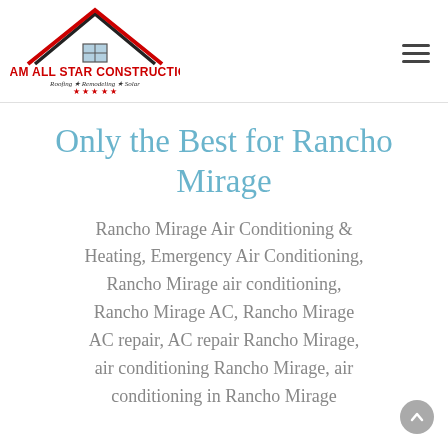[Figure (logo): Team All Star Construction logo with red roof outline, window, text TEAM ALL STAR CONSTRUCTION, Roofing Star Remodeling Star Solar, five red stars, red underline]
Only the Best for Rancho Mirage
Rancho Mirage Air Conditioning & Heating, Emergency Air Conditioning, Rancho Mirage air conditioning, Rancho Mirage AC, Rancho Mirage AC repair, AC repair Rancho Mirage, air conditioning Rancho Mirage, air conditioning in Rancho Mirage